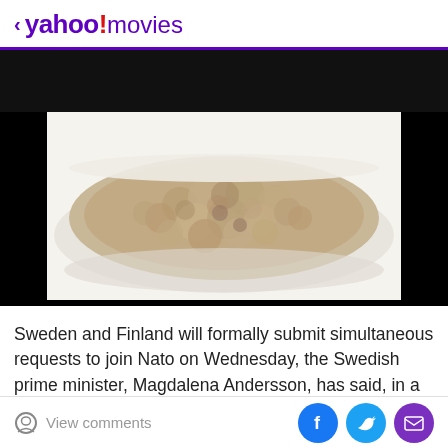< yahoo!movies
[Figure (photo): A white bowl filled with oatmeal/porridge, photographed from above against a white background, with a black band visible at the top of the image area.]
Sweden and Finland will formally submit simultaneous requests to join Nato on Wednesday, the Swedish prime minister, Magdalena Andersson, has said, in a seismic shift in Europe's security architecture after Russia's
View comments | [Facebook share] [Twitter share] [Email share]